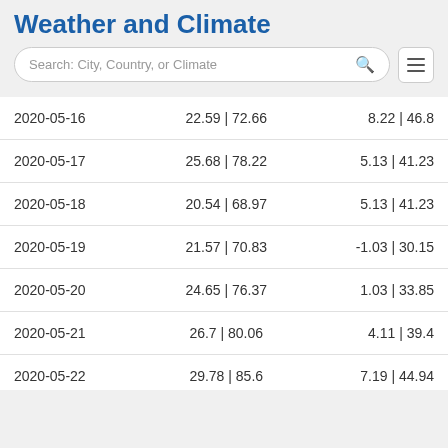Weather and Climate
| Date | Max Temp °C | °F | Min Temp °C | °F |
| --- | --- | --- |
| 2020-05-16 | 22.59 | 72.66 | 8.22 | 46.8 |
| 2020-05-17 | 25.68 | 78.22 | 5.13 | 41.23 |
| 2020-05-18 | 20.54 | 68.97 | 5.13 | 41.23 |
| 2020-05-19 | 21.57 | 70.83 | -1.03 | 30.15 |
| 2020-05-20 | 24.65 | 76.37 | 1.03 | 33.85 |
| 2020-05-21 | 26.7 | 80.06 | 4.11 | 39.4 |
| 2020-05-22 | 29.78 | 85.6 | 7.19 | 44.94 |